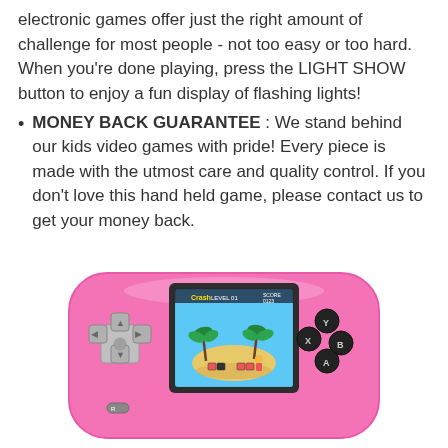electronic games offer just the right amount of challenge for most people - not too easy or too hard. When you're done playing, press the LIGHT SHOW button to enjoy a fun display of flashing lights!
MONEY BACK GUARANTEE : We stand behind our kids video games with pride! Every piece is made with the utmost care and quality control. If you don't love this hand held game, please contact us to get your money back.
[Figure (photo): Pink handheld gaming console with a color screen showing a tropical island game level 01, with a D-pad on the left and Y/X/B/A buttons on the right.]